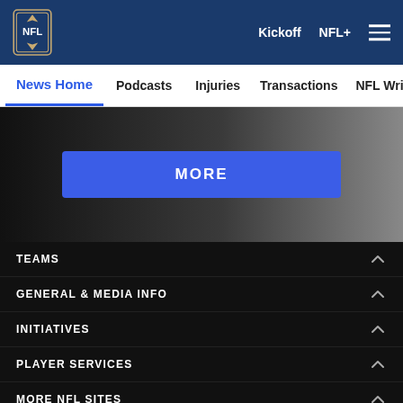NFL Logo | Kickoff | NFL+ | Menu
News Home | Podcasts | Injuries | Transactions | NFL Writers | Se
[Figure (other): Dark gradient banner with MORE button in blue]
TEAMS
GENERAL & MEDIA INFO
INITIATIVES
PLAYER SERVICES
MORE NFL SITES
[Figure (other): Social media icons row: Facebook, Twitter, Email, Link]